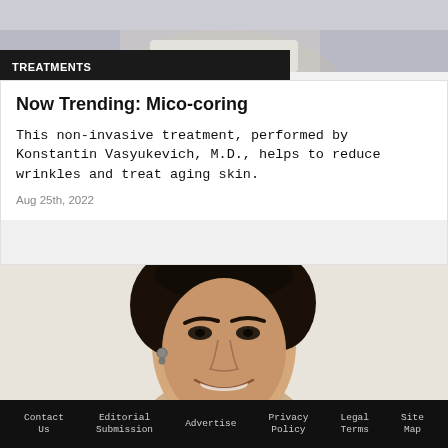[Figure (photo): Top portion of a photo showing a person, cropped — only upper body visible]
TREATMENTS
Now Trending: Mico-coring
This non-invasive treatment, performed by Konstantin Vasyukevich, M.D., helps to reduce wrinkles and treat aging skin.
Aug 25th, 2022
[Figure (photo): Close-up photo of a young man with dark curly hair, smiling, slight beard, wearing an earring]
Contact Us   Editorial Submission   Advertise   Privacy Policy   Legal Terms   Site Map